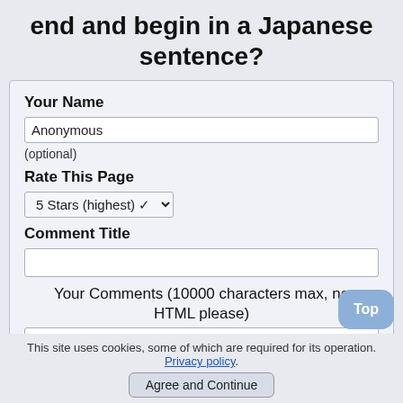end and begin in a Japanese sentence?
[Figure (screenshot): Web form with fields: Your Name (text input with 'Anonymous'), (optional) label, Rate This Page (dropdown '5 Stars (highest)'), Comment Title (empty text input), Your Comments (10000 characters max, no HTML please) with partial text input visible. A 'Top' button is in the lower right.]
This site uses cookies, some of which are required for its operation. Privacy policy.
Agree and Continue